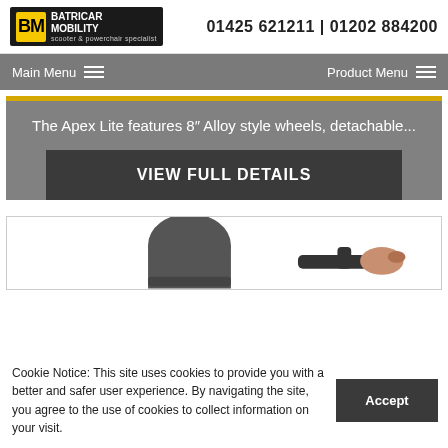[Figure (logo): Batricar Mobility logo with BM letters in yellow on black background, text 'BATRICAR MOBILITY scooter & powerchair specialist']
01425 621211 | 01202 884200
Main Menu
Product Menu
The Apex Lite features 8″ Alloy style wheels, detachable...
VIEW FULL DETAILS
[Figure (photo): Partial photo of a mobility scooter showing seat and handlebars]
Cookie Notice: This site uses cookies to provide you with a better and safer user experience. By navigating the site, you agree to the use of cookies to collect information on your visit.
Accept